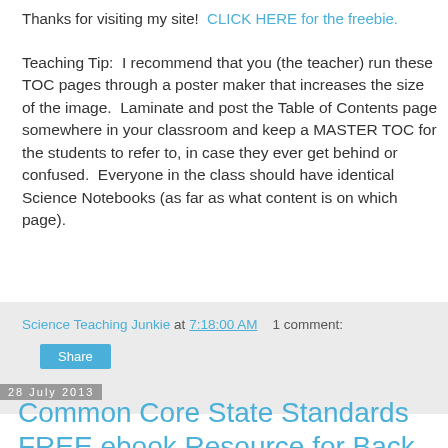Thanks for visiting my site!  CLICK HERE for the freebie.
Teaching Tip:  I recommend that you (the teacher) run these TOC pages through a poster maker that increases the size of the image.  Laminate and post the Table of Contents page somewhere in your classroom and keep a MASTER TOC for the students to refer to, in case they ever get behind or confused.  Everyone in the class should have identical Science Notebooks (as far as what content is on which page).
Science Teaching Junkie at 7:18:00 AM    1 comment:
Share
28 July 2013
Common Core State Standards FREE ebook Resource for Back To School and the Vacay Drama